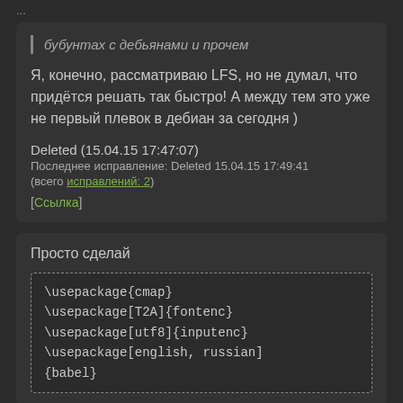бубунтах с дебьянами и прочем
Я, конечно, рассматриваю LFS, но не думал, что придётся решать так быстро! А между тем это уже не первый плевок в дебиан за сегодня )
Deleted (15.04.15 17:47:07)
Последнее исправление: Deleted 15.04.15 17:49:41 (всего исправлений: 2)
[Ссылка]
Просто сделай
\usepackage{cmap}
\usepackage[T2A]{fontenc}
\usepackage[utf8]{inputenc}
\usepackage[english, russian]{babel}